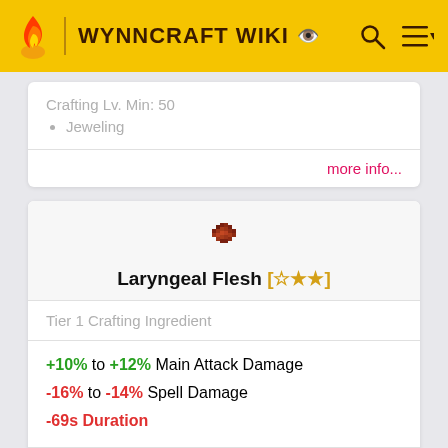WYNNCRAFT WIKI
Crafting Lv. Min: 50
• Jeweling
more info...
[Figure (illustration): Pixel art icon of laryngeal flesh item (dark red meat-like object)]
Laryngeal Flesh [☆★★]
Tier 1 Crafting Ingredient
+10% to +12% Main Attack Damage
-16% to -14% Spell Damage
-69s Duration
Crafting Lv. Min: 22
• Alchemism
more info